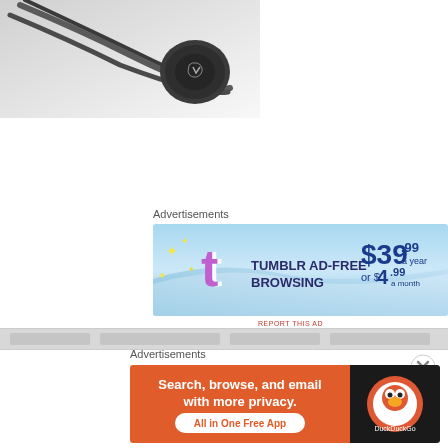[Figure (photo): Close-up photo of earphones/earbuds with dark metallic housing against white background]
[Figure (infographic): Blurred/redacted content bar]
Advertisements
[Figure (infographic): Tumblr Ad-Free Browsing advertisement banner: $39.99 a year or $4.99 a month]
REPORT THIS AD
Advertisements
[Figure (infographic): DuckDuckGo advertisement: Search, browse, and email with more privacy. All in One Free App]